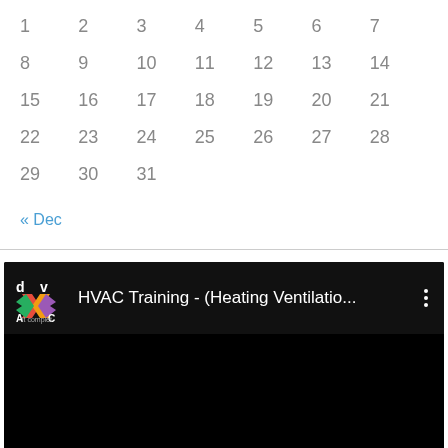| 1 | 2 | 3 | 4 | 5 | 6 | 7 |
| 8 | 9 | 10 | 11 | 12 | 13 | 14 |
| 15 | 16 | 17 | 18 | 19 | 20 | 21 |
| 22 | 23 | 24 | 25 | 26 | 27 | 28 |
| 29 | 30 | 31 |  |  |  |  |
« Dec
[Figure (screenshot): YouTube-style video embed showing HVAC Training - (Heating Ventilatio... with logo and three-dot menu icon on a black background]